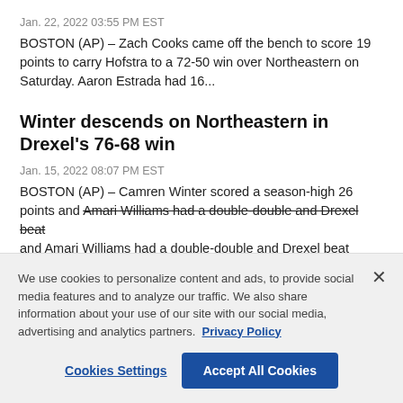Jan. 22, 2022 03:55 PM EST
BOSTON (AP) – Zach Cooks came off the bench to score 19 points to carry Hofstra to a 72-50 win over Northeastern on Saturday. Aaron Estrada had 16...
Winter descends on Northeastern in Drexel's 76-68 win
Jan. 15, 2022 08:07 PM EST
BOSTON (AP) – Camren Winter scored a season-high 26 points and Amari Williams had a double-double and Drexel beat
We use cookies to personalize content and ads, to provide social media features and to analyze our traffic. We also share information about your use of our site with our social media, advertising and analytics partners. Privacy Policy
Cookies Settings
Accept All Cookies